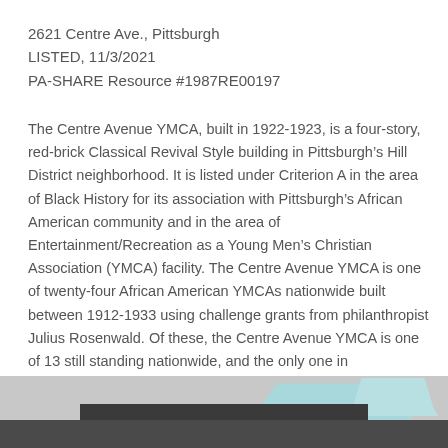2621 Centre Ave., Pittsburgh
LISTED, 11/3/2021
PA-SHARE Resource #1987RE00197
The Centre Avenue YMCA, built in 1922-1923, is a four-story, red-brick Classical Revival Style building in Pittsburgh’s Hill District neighborhood. It is listed under Criterion A in the area of Black History for its association with Pittsburgh’s African American community and in the area of Entertainment/Recreation as a Young Men’s Christian Association (YMCA) facility. The Centre Avenue YMCA is one of twenty-four African American YMCAs nationwide built between 1912-1933 using challenge grants from philanthropist Julius Rosenwald. Of these, the Centre Avenue YMCA is one of 13 still standing nationwide, and the only one in Pennsylvania.
[Figure (photo): Partial view of the Centre Avenue YMCA building exterior, with teal/blue decorative elements visible at the top of the image and dark brick building facade at the bottom.]